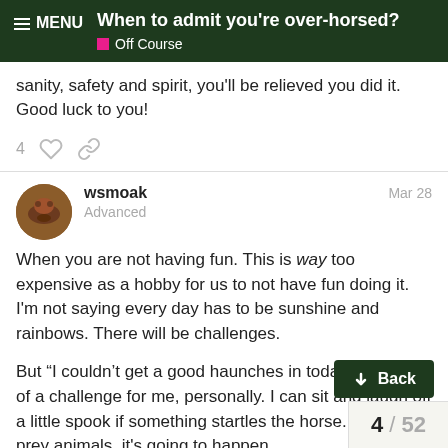When to admit you're over-horsed? | Off Course
sanity, safety and spirit, you'll be relieved you did it. Good luck to you!
4 likes
wsmoak   Mar 28
Advanced
When you are not having fun. This is way too expensive as a hobby for us to not have fun doing it. I'm not saying every day has to be sunshine and rainbows. There will be challenges.
But “I couldn’t get a good haunches in today” is enough of a challenge for me, personally. I can sit and laugh off a little spook if something startles the horse. They are prey animals, it's going to happen.
Each of us has their own limit of what we may change over time (as we age!) Decid